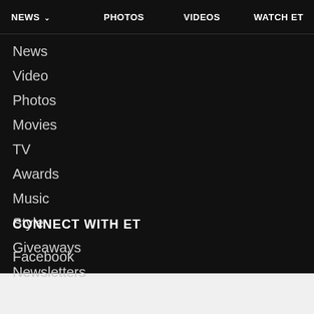NEWS ∨   PHOTOS   VIDEOS   WATCH ET
News
Video
Photos
Movies
TV
Awards
Music
Style
Giveaways
Newsletters
CONNECT WITH ET
Facebook